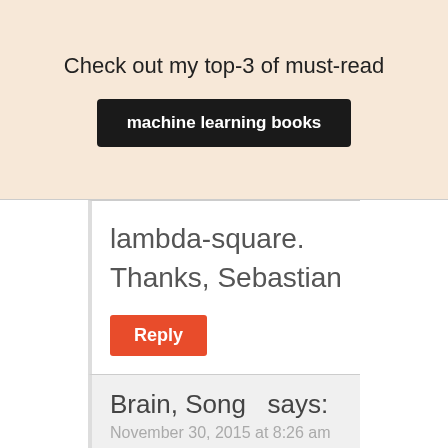Check out my top-3 of must-read
machine learning books
lambda-square.

Thanks, Sebastian
Reply
Brain, Song  says:
November 30, 2015 at 8:26 am